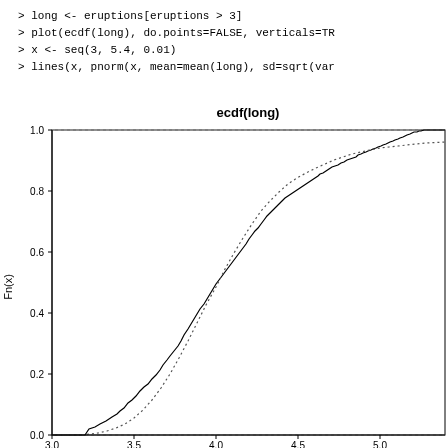> long <- eruptions[eruptions > 3]
> plot(ecdf(long), do.points=FALSE, verticals=TR
> x <- seq(3, 5.4, 0.01)
> lines(x, pnorm(x, mean=mean(long), sd=sqrt(var
[Figure (continuous-plot): Empirical CDF (ecdf) plot of 'long' eruption times (>3 minutes) from the Old Faithful dataset, showing a black step function (ECDF) and a dotted curve (fitted normal distribution). Y-axis is Fn(x) ranging 0.0 to 1.0, X-axis shows eruption duration. Plot title is 'ecdf(long)'.]